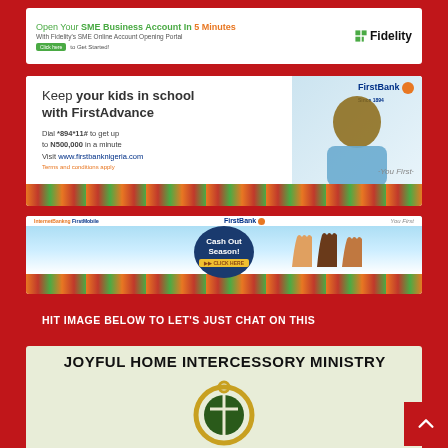[Figure (illustration): Fidelity Bank advertisement banner: 'Open Your SME Business Account In 5 Minutes. With Fidelity's SME Online Account Opening Portal. Click here to Get Started!' with Fidelity logo and woman photo.]
[Figure (illustration): FirstBank advertisement: 'Keep your kids in school with FirstAdvance. Dial *894*11# to get up to N500,000 in a minute. Visit www.firstbanknigeria.com. Terms and conditions apply. You First.' with man photo and FirstBank logo.]
[Figure (illustration): FirstBank 'Cash Out Season!' advertisement banner with hands raised and FirstBank logo, 'You First' tagline.]
HIT IMAGE BELOW TO LET'S JUST CHAT ON THIS
[Figure (illustration): Joyful Home Intercessory Ministry card with circular logo (cross/church symbol in gold and green).]